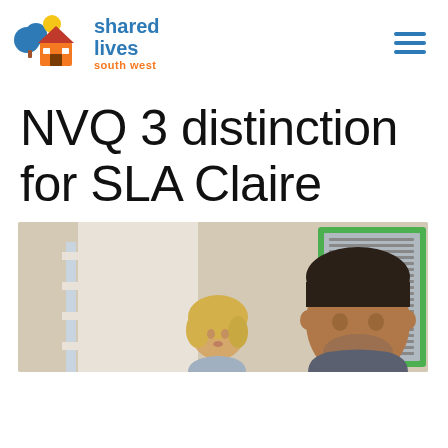[Figure (logo): Shared Lives South West logo with house and tree icon in blue and orange]
NVQ 3 distinction for SLA Claire
[Figure (photo): Photo of two people smiling, a woman with blonde hair and a man with short dark hair, in an office setting with a green-framed board visible]